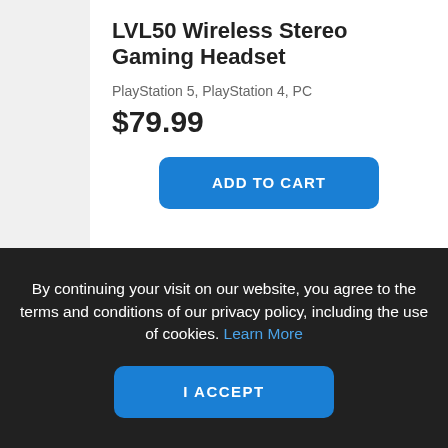LVL50 Wireless Stereo Gaming Headset
PlayStation 5, PlayStation 4, PC
$79.99
ADD TO CART
By continuing your visit on our website, you agree to the terms and conditions of our privacy policy, including the use of cookies. Learn More
I ACCEPT